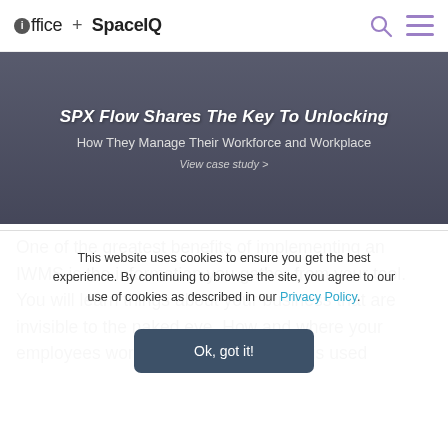ioffice + SpaceIQ
[Figure (photo): Banner image showing office workers with overlay text: SPX Flow Shares The Key To Unlocking How They Manage Their Workforce and Workplace. View case study >]
One of the greatest benefits of implementing an IWMS is the information you gather from your tool. You will learn things about your business that are invisible to the naked eye. How and where your employees work, what types of space is used
This website uses cookies to ensure you get the best experience. By continuing to browse the site, you agree to our use of cookies as described in our Privacy Policy.
Ok, got it!